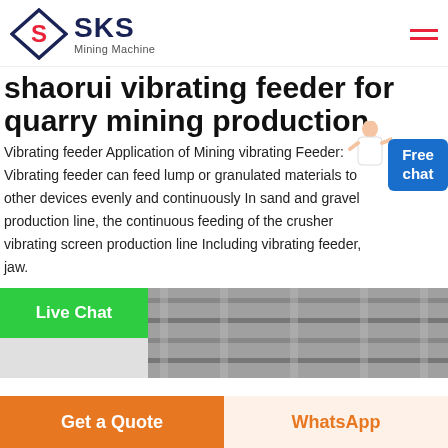SKS Mining Machine
shaorui vibrating feeder for quarry mining production
Vibrating feeder Application of Mining vibrating Feeder: Vibrating feeder can feed lump or granulated materials to other devices evenly and continuously In sand and gravel production line, the continuous feeding of the crusher vibrating screen production line Including vibrating feeder, jaw.
[Figure (photo): Industrial vibrating feeder machine, metallic surface visible]
Get a Quote | WhatsApp